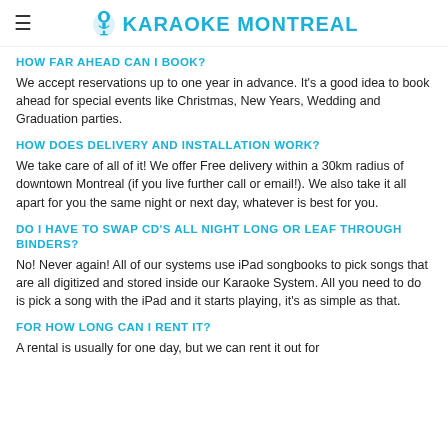KARAOKE MONTREAL
HOW FAR AHEAD CAN I BOOK?
We accept reservations up to one year in advance. It's a good idea to book ahead for special events like Christmas, New Years, Wedding and Graduation parties.
HOW DOES DELIVERY AND INSTALLATION WORK?
We take care of all of it! We offer Free delivery within a 30km radius of downtown Montreal (if you live further call or email!). We also take it all apart for you the same night or next day, whatever is best for you.
DO I HAVE TO SWAP CD'S ALL NIGHT LONG OR LEAF THROUGH BINDERS?
No! Never again! All of our systems use iPad songbooks to pick songs that are all digitized and stored inside our Karaoke System. All you need to do is pick a song with the iPad and it starts playing, it's as simple as that.
FOR HOW LONG CAN I RENT IT?
A rental is usually for one day, but we can rent it out for